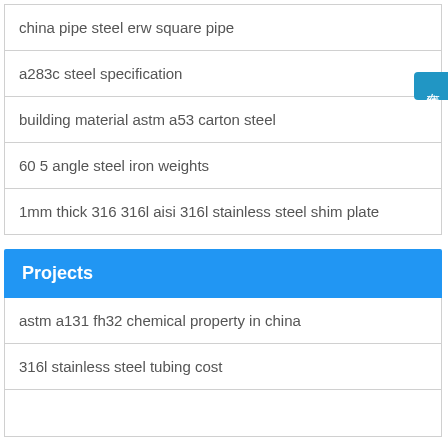china pipe steel erw square pipe
a283c steel specification
building material astm a53 carton steel
60 5 angle steel iron weights
1mm thick 316 316l aisi 316l stainless steel shim plate
Projects
astm a131 fh32 chemical property in china
316l stainless steel tubing cost